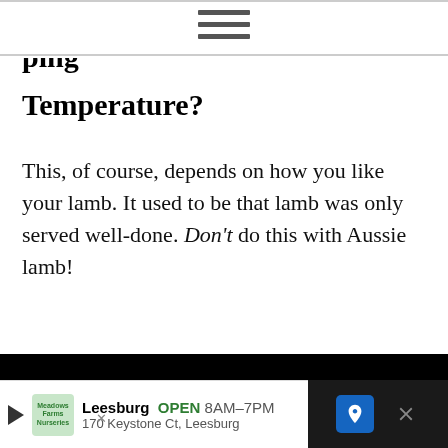[Figure (other): Hamburger/navigation menu icon with three horizontal bars]
Temperature?
This, of course, depends on how you like your lamb. It used to be that lamb was only served well-done. Don't do this with Aussie lamb!
Seriously, good quality lamb (or beef) should be served medium-rare, to medium at the most!
[Figure (other): Advertisement banner: Leesburg OPEN 8AM-7PM, 170 Keystone Ct, Leesburg]